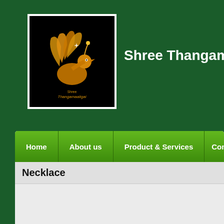[Figure (logo): Shree Thangamaaligai logo: golden peacock on black background with text]
Shree Thangamaaligai
Home | About us | Product & Services | Contact
Necklace